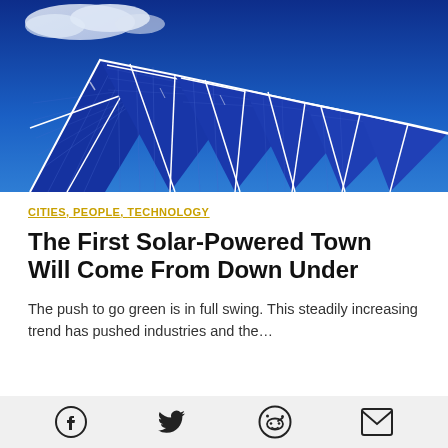[Figure (photo): Row of large solar panels angled toward the sky against a deep blue sky with white clouds]
CITIES, PEOPLE, TECHNOLOGY
The First Solar-Powered Town Will Come From Down Under
The push to go green is in full swing. This steadily increasing trend has pushed industries and the…
[Figure (infographic): Social share icons: Facebook, Twitter, Reddit, Email]